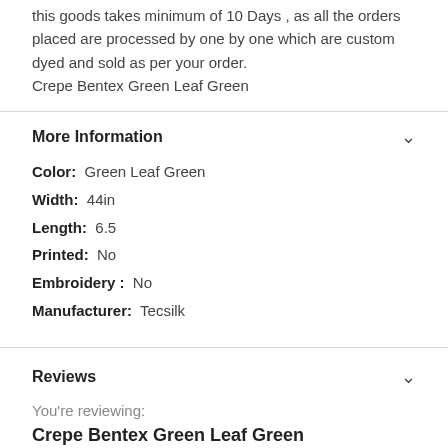this goods takes minimum of 10 Days , as all the orders placed are processed by one by one which are custom dyed and sold as per your order.
Crepe Bentex Green Leaf Green
More Information
Color:  Green Leaf Green
Width:  44in
Length:  6.5
Printed:  No
Embroidery :  No
Manufacturer:  Tecsilk
Reviews
You're reviewing:
Crepe Bentex Green Leaf Green